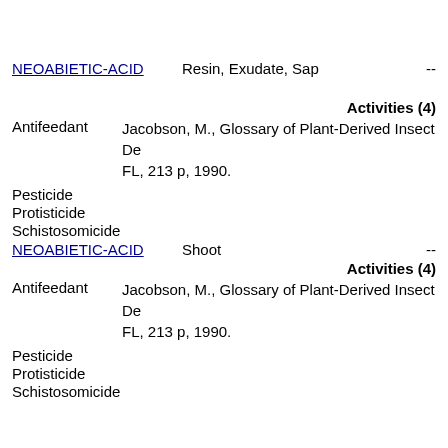NEOABIETIC-ACID    Resin, Exudate, Sap    --
Activities (4)
Antifeedant    Jacobson, M., Glossary of Plant-Derived Insect Deterrents, CRC Press, Inc., Boca Raton, FL, 213 p, 1990.
Pesticide
Protisticide
Schistosomicide
NEOABIETIC-ACID    Shoot    --
Activities (4)
Antifeedant    Jacobson, M., Glossary of Plant-Derived Insect Deterrents, CRC Press, Inc., Boca Raton, FL, 213 p, 1990.
Pesticide
Protisticide
Schistosomicide